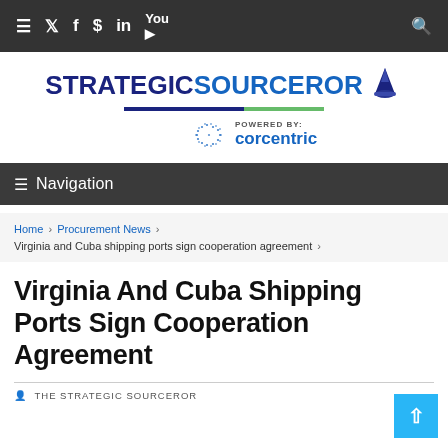≡ Twitter Facebook $ LinkedIn YouTube  🔍
[Figure (logo): StrategicSourceror logo with wizard hat icon and 'POWERED BY: corcentric' branding below a blue/green underline]
≡ Navigation
Home › Procurement News › Virginia and Cuba shipping ports sign cooperation agreement ›
Virginia And Cuba Shipping Ports Sign Cooperation Agreement
THE STRATEGIC SOURCEROR